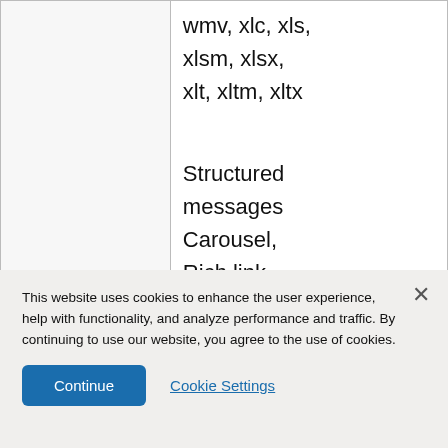|  | wmv, xlc, xls, xlsm, xlsx, xlt, xltm, xltx

Structured messages Carousel, Rich link, Quick |
This website uses cookies to enhance the user experience, help with functionality, and analyze performance and traffic. By continuing to use our website, you agree to the use of cookies.